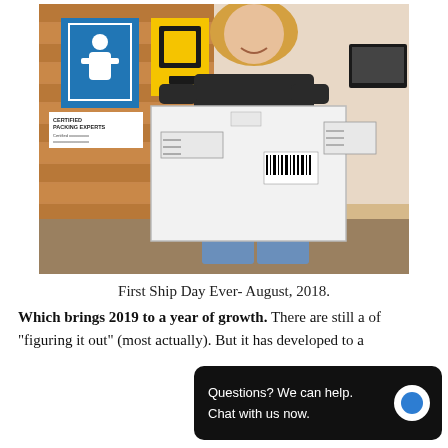[Figure (photo): A smiling woman holding a large flat white package/envelope with shipping labels, standing inside what appears to be a UPS or shipping store with a cork board background showing signs including a blue 'Certified Packing Experts' sign.]
First Ship Day Ever- August, 2018.
Which brings 2019 to a year of growth. There are still a [partial] of “figuring it out” (most [partial] actually). But it has developed to a [partial]